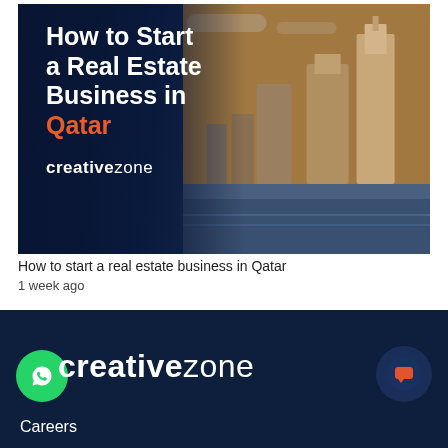[Figure (photo): Article thumbnail image showing 'How to Start a Real Estate Business in Qatar' with Qatar city skyline (skyscrapers) on dark blue background, with creativezone logo]
How to start a real estate business in Qatar
1 week ago
[Figure (logo): creativezone logo in white on dark navy footer background, with WhatsApp button on left and chat button on right]
Careers